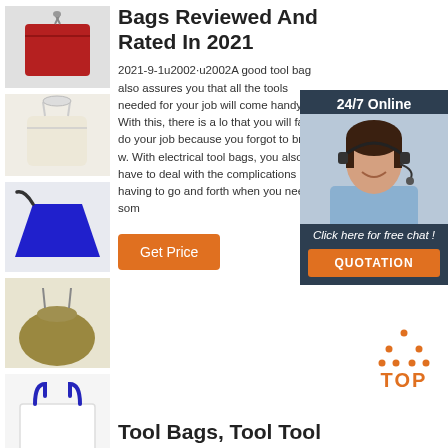[Figure (photo): Red drawstring bag on white background]
[Figure (photo): Cream/beige drawstring bag on white background]
[Figure (photo): Blue trapezoid shoulder bag on white background]
[Figure (photo): Olive/khaki drawstring bag on white background]
[Figure (photo): White tote bag with blue handles on white background]
Bags Reviewed And Rated In 2021
2021-9-1u2002·u2002A good tool bag also assures you that all the tools needed for your job will come handy. With this, there is a lo that you will fail to do your job because you forgot to bring w. With electrical tool bags, you also have to deal with the complications of having to go and forth when you need som
[Figure (photo): 24/7 Online chat widget with customer service representative photo, 'Click here for free chat!' text, and QUOTATION button]
Get Price
[Figure (other): TOP navigation button with orange dotted triangle icon and orange TOP text]
Tool Bags, Tool Tool